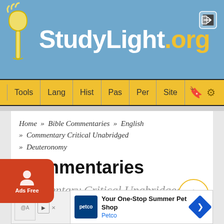StudyLight.org
Tools | Lang | Hist | Pas | Per | Site
Home » Bible Commentaries » English » Commentary Critical Unabridged » Deuteronomy
Commentaries
Commentary Critical Unabridged
Deuteronomy 11
[Figure (screenshot): Petco ad banner: Your One-Stop Summer Pet Shop - Petco]